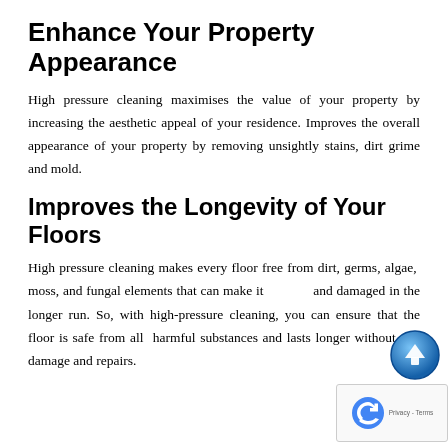Enhance Your Property Appearance
High pressure cleaning maximises the value of your property by increasing the aesthetic appeal of your residence. Improves the overall appearance of your property by removing unsightly stains, dirt grime and mold.
Improves the Longevity of Your Floors
High pressure cleaning makes every floor free from dirt, germs, algae, moss, and fungal elements that can make it dirty and damaged in the longer run. So, with high-pressure cleaning, you can ensure that the floor is safe from all harmful substances and lasts longer without any damage and repairs.
[Figure (other): Scroll-up button icon (blue circular arrow pointing up) and reCAPTCHA badge with Privacy - Terms text]